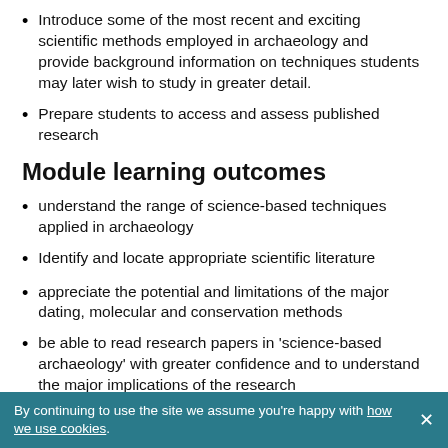Introduce some of the most recent and exciting scientific methods employed in archaeology and provide background information on techniques students may later wish to study in greater detail.
Prepare students to access and assess published research
Module learning outcomes
understand the range of science-based techniques applied in archaeology
Identify and locate appropriate scientific literature
appreciate the potential and limitations of the major dating, molecular and conservation methods
be able to read research papers in 'science-based archaeology' with greater confidence and to understand the major implications of the research
Module content
By continuing to use the site we assume you're happy with how we use cookies.